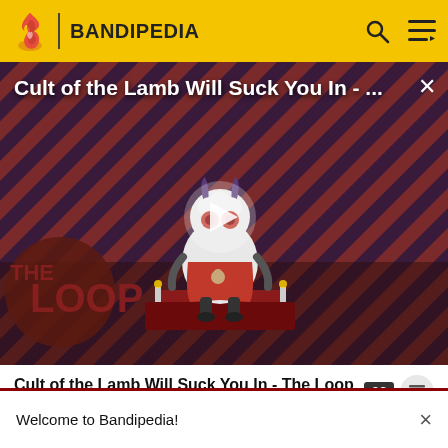BANDIPEDIA
[Figure (screenshot): Video thumbnail for 'Cult of the Lamb Will Suck You In - The Loop' showing a cartoon lamb character on a red diagonal striped background with THE LOOP text and a play button overlay]
Cult of the Lamb Will Suck You In - The Loop
Thai กระดานCěm (same as English) Turkish Taş (same as English) Vietnamese Nước (same as English)
Welcome to Bandipedia!